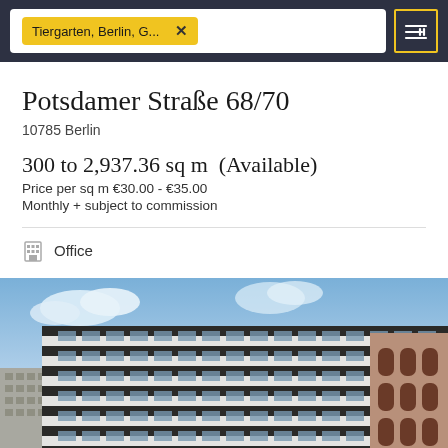Tiergarten, Berlin, G... ×
Potsdamer Straße 68/70
10785 Berlin
300 to 2,937.36 sq m  (Available)
Price per sq m €30.00 - €35.00
Monthly + subject to commission
Office
[Figure (photo): Exterior photo of a modern multi-story office building (Potsdamer Straße 68/70) with white horizontal banded facade and glass windows, flanked by brick buildings, against a blue sky with clouds.]